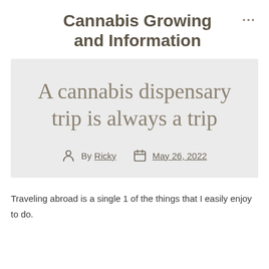Cannabis Growing and Information
A cannabis dispensary trip is always a trip
By Ricky  May 26, 2022
Traveling abroad is a single 1 of the things that I easily enjoy to do.